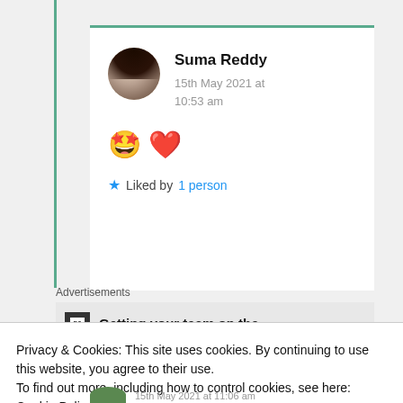Suma Reddy
15th May 2021 at 10:53 am
🤩 ❤️
★ Liked by 1 person
Advertisements
Getting your team on the
Privacy & Cookies: This site uses cookies. By continuing to use this website, you agree to their use.
To find out more, including how to control cookies, see here: Cookie Policy
Close and accept